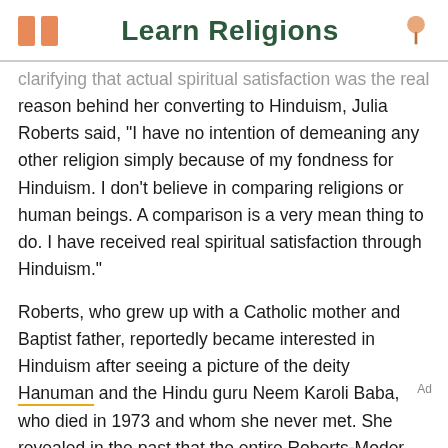Learn Religions
clarifying that actual spiritual satisfaction was the real reason behind her converting to Hinduism, Julia Roberts said, "I have no intention of demeaning any other religion simply because of my fondness for Hinduism. I don't believe in comparing religions or human beings. A comparison is a very mean thing to do. I have received real spiritual satisfaction through Hinduism."
Roberts, who grew up with a Catholic mother and Baptist father, reportedly became interested in Hinduism after seeing a picture of the deity Hanuman and the Hindu guru Neem Karoli Baba, who died in 1973 and whom she never met. She revealed in the past that the entire Roberts-Moder family went to temple